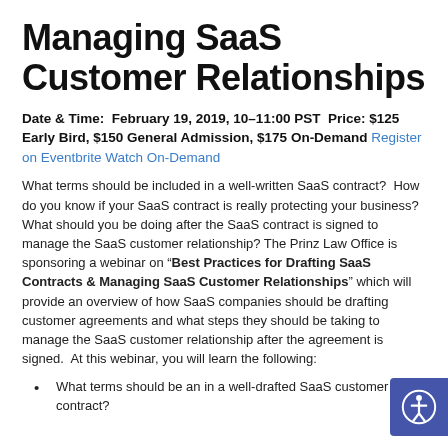Managing SaaS Customer Relationships
Date & Time:  February 19, 2019, 10–11:00 PST  Price: $125 Early Bird, $150 General Admission, $175 On-Demand  Register on Eventbrite Watch On-Demand
What terms should be included in a well-written SaaS contract?  How do you know if your SaaS contract is really protecting your business?  What should you be doing after the SaaS contract is signed to manage the SaaS customer relationship? The Prinz Law Office is sponsoring a webinar on “Best Practices for Drafting SaaS Contracts & Managing SaaS Customer Relationships” which will provide an overview of how SaaS companies should be drafting customer agreements and what steps they should be taking to manage the SaaS customer relationship after the agreement is signed.  At this webinar, you will learn the following:
What terms should be an in a well-drafted SaaS customer contract?